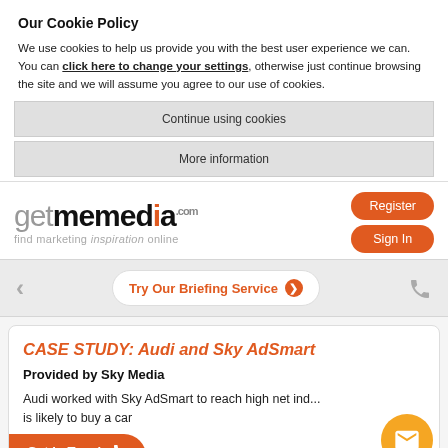Our Cookie Policy
We use cookies to help us provide you with the best user experience we can. You can click here to change your settings, otherwise just continue browsing the site and we will assume you agree to our use of cookies.
Continue using cookies
More information
[Figure (logo): getmemedia.com logo with tagline 'find marketing inspiration online']
Register
Sign In
Try Our Briefing Service ❯
CASE STUDY: Audi and Sky AdSmart
Provided by Sky Media
Audi worked with Sky AdSmart to reach high net ind... is likely to buy a car